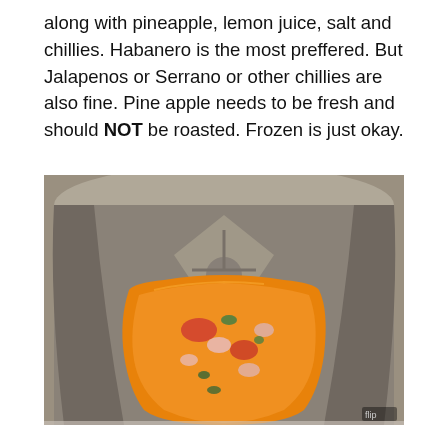along with pineapple, lemon juice, salt and chillies. Habanero is the most preffered. But Jalapenos or Serrano or other chillies are also fine. Pine apple needs to be fresh and should NOT be roasted. Frozen is just okay.
[Figure (photo): Top-down view of a blender jar containing an orange-colored chunky sauce or salsa with visible pieces of herbs (green), onion (pink/white), and tomato, sitting inside a blender.]
along with...